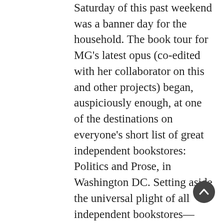Saturday of this past weekend was a banner day for the household. The book tour for MG's latest opus (co-edited with her collaborator on this and other projects) began, auspiciously enough, at one of the destinations on everyone's short list of great independent bookstores: Politics and Prose, in Washington DC. Setting aside the universal plight of all independent bookstores—how to stay viable and profitable in a world of online discount selling—we can take comfort that the strongest and most appealing of these stores, and Politics and Prose is one of them, seem to thrive. Sometime, in another post, I may end up musing on the qualities of these stores that allow them to survive where they are beaten every time on price, the factor that seems to trump all others in the book buyer's decision process.